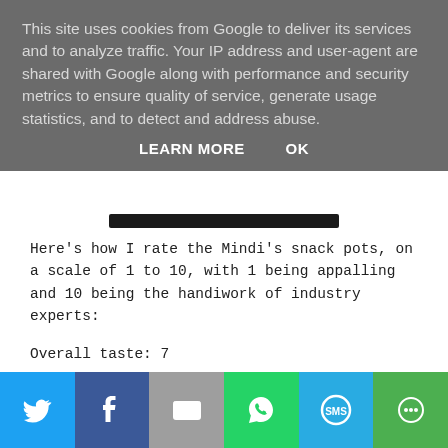This site uses cookies from Google to deliver its services and to analyze traffic. Your IP address and user-agent are shared with Google along with performance and security metrics to ensure quality of service, generate usage statistics, and to detect and address abuse.
LEARN MORE   OK
Here's how I rate the Mindi's snack pots, on a scale of 1 to 10, with 1 being appalling and 10 being the handiwork of industry experts:
Overall taste: 7
Spicyness as advertised on the packet: 10
Flavor of individual ingredients: 4
Packaging: 9